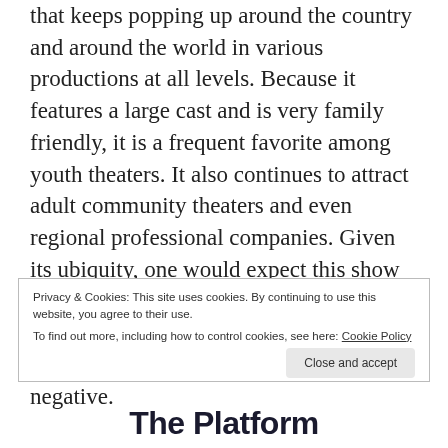that keeps popping up around the country and around the world in various productions at all levels. Because it features a large cast and is very family friendly, it is a frequent favorite among youth theaters. It also continues to attract adult community theaters and even regional professional companies. Given its ubiquity, one would expect this show to be a perennial crowd favorite, and yet, within the theater community, it evokes strong reactions, both positive and negative.
Privacy & Cookies: This site uses cookies. By continuing to use this website, you agree to their use. To find out more, including how to control cookies, see here: Cookie Policy
The Platform